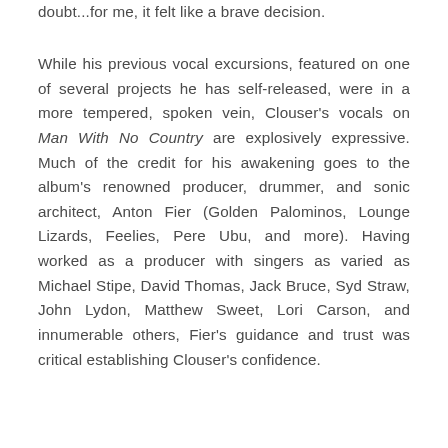doubt...for me, it felt like a brave decision.
While his previous vocal excursions, featured on one of several projects he has self-released, were in a more tempered, spoken vein, Clouser's vocals on Man With No Country are explosively expressive. Much of the credit for his awakening goes to the album's renowned producer, drummer, and sonic architect, Anton Fier (Golden Palominos, Lounge Lizards, Feelies, Pere Ubu, and more). Having worked as a producer with singers as varied as Michael Stipe, David Thomas, Jack Bruce, Syd Straw, John Lydon, Matthew Sweet, Lori Carson, and innumerable others, Fier's guidance and trust was critical establishing Clouser's confidence.